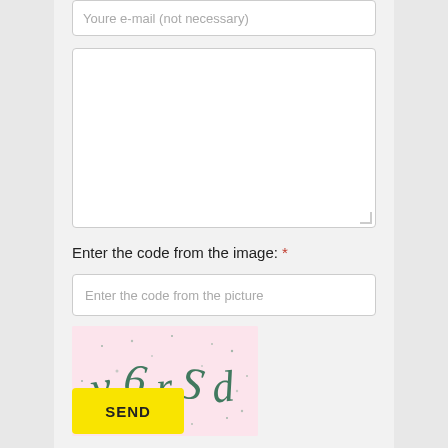Youre e-mail (not necessary)
Enter the code from the image: *
Enter the code from the picture
[Figure (other): CAPTCHA image with distorted text on pink background showing characters 'y6rSd']
SEND